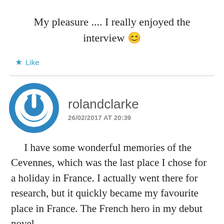My pleasure .... I really enjoyed the interview 😊
★ Like
rolandclarke
26/02/2017 AT 20:39
I have some wonderful memories of the Cevennes, which was the last place I chose for a holiday in France. I actually went there for research, but it quickly became my favourite place in France. The French hero in my debut novel